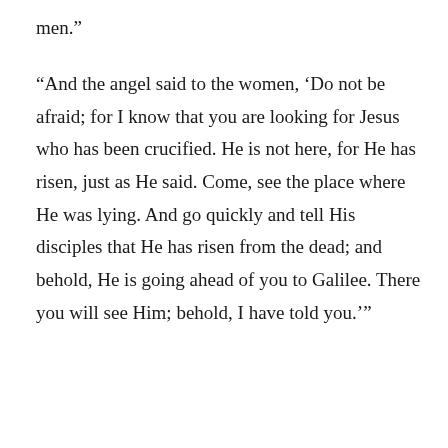men.”
“And the angel said to the women, ‘Do not be afraid; for I know that you are looking for Jesus who has been crucified. He is not here, for He has risen, just as He said. Come, see the place where He was lying. And go quickly and tell His disciples that He has risen from the dead; and behold, He is going ahead of you to Galilee. There you will see Him; behold, I have told you.’”